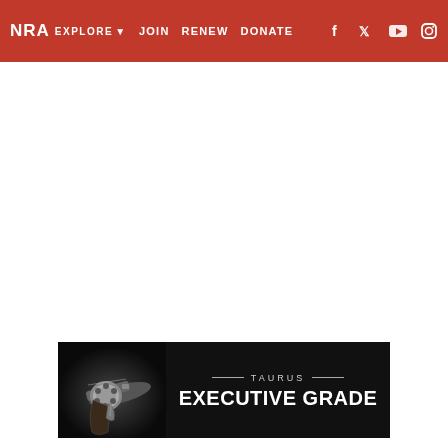NRA EXPLORE ▾  JOIN  RENEW  DONATE  [Facebook] [Twitter] [YouTube] [Instagram]
[Figure (screenshot): White blank content area of website page]
[Figure (illustration): Taurus Executive Grade advertisement banner with a revolver on black background and text: TAURUS EXECUTIVE GRADE]